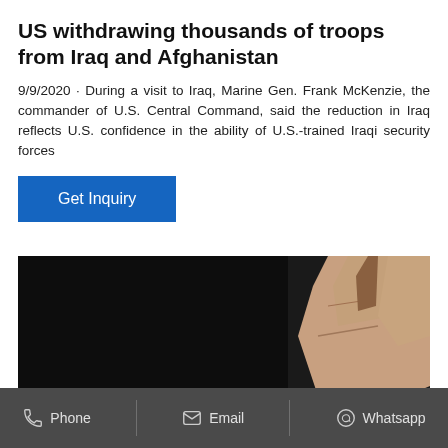US withdrawing thousands of troops from Iraq and Afghanistan
9/9/2020 · During a visit to Iraq, Marine Gen. Frank McKenzie, the commander of U.S. Central Command, said the reduction in Iraq reflects U.S. confidence in the ability of U.S.-trained Iraqi security forces
[Figure (photo): A photo showing a hand (fingers) against a black background, appearing to be fingering something on a reflective surface.]
Phone   Email   Whatsapp